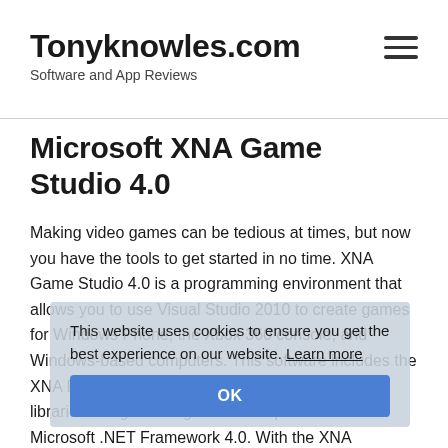Tonyknowles.com
Software and App Reviews
Microsoft XNA Game Studio 4.0
Making video games can be tedious at times, but now you have the tools to get started in no time. XNA Game Studio 4.0 is a programming environment that allows you to use Visual Studio 2010 to create games for Windows Phone, the Xbox 360 console, and Windows-based computers. This software includes the XNA Framework 4.0, which is a set of managed libraries designed for game development based on Microsoft .NET Framework 4.0. With the XNA Framework 4.0,
This website uses cookies to ensure you get the best experience on our website. Learn more
OK